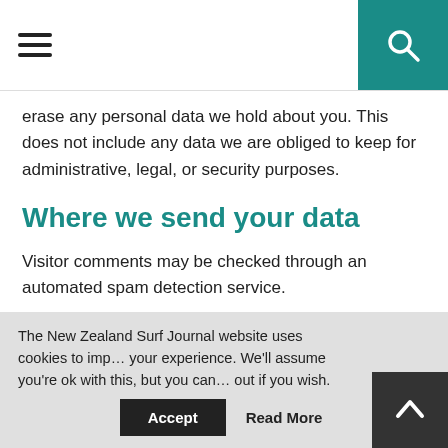≡ [menu] [search]
erase any personal data we hold about you. This does not include any data we are obliged to keep for administrative, legal, or security purposes.
Where we send your data
Visitor comments may be checked through an automated spam detection service.
Your contact information
NZ Surf Journal communications are managed by MailChimp and Campaign Monitor, using their world class
The New Zealand Surf Journal website uses cookies to improve your experience. We'll assume you're ok with this, but you can opt out if you wish.  Accept  Read More